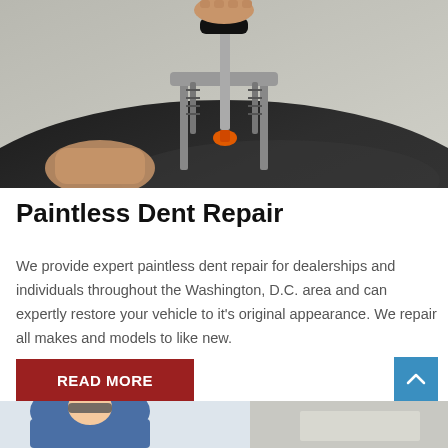[Figure (photo): Close-up photo of hands using a paintless dent repair tool (metal bridge puller with orange rubber tip) on a dark vehicle surface.]
Paintless Dent Repair
We provide expert paintless dent repair for dealerships and individuals throughout the Washington, D.C. area and can expertly restore your vehicle to it’s original appearance. We repair all makes and models to like new.
[Figure (other): Red 'READ MORE' button and blue scroll-to-top arrow button, and bottom portion of another photo showing a technician working on a vehicle.]